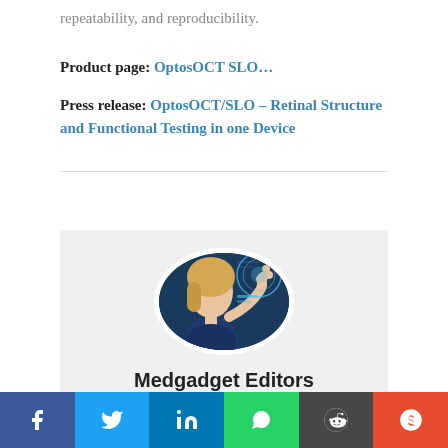repeatability, and reproducibility.
Product page: OptosOCT SLO...
Press release: OptosOCT/SLO – Retinal Structure and Functional Testing in one Device
[Figure (photo): Circular profile photo of a woman touching a holographic interface screen, representing Medgadget Editors author avatar]
Medgadget Editors
[Figure (infographic): Social media share bar with Facebook, Twitter, LinkedIn, WhatsApp, Reddit, and StumbleUpon buttons]